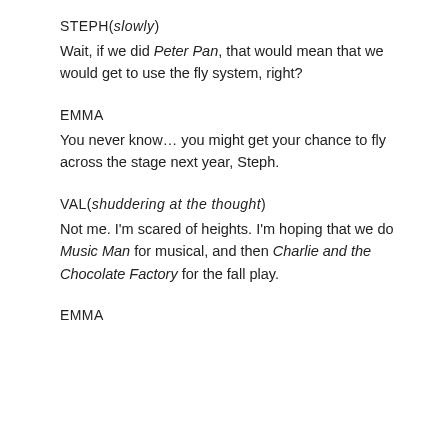STEPH(slowly)
Wait, if we did Peter Pan, that would mean that we would get to use the fly system, right?
EMMA
You never know... you might get your chance to fly across the stage next year, Steph.
VAL(shuddering at the thought)
Not me. I'm scared of heights. I'm hoping that we do Music Man for musical, and then Charlie and the Chocolate Factory for the fall play.
EMMA